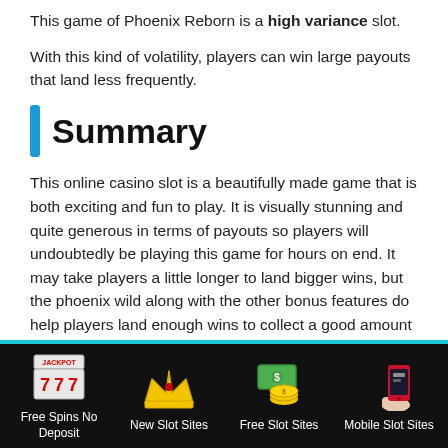This game of Phoenix Reborn is a high variance slot.
With this kind of volatility, players can win large payouts that land less frequently.
Summary
This online casino slot is a beautifully made game that is both exciting and fun to play. It is visually stunning and quite generous in terms of payouts so players will undoubtedly be playing this game for hours on end. It may take players a little longer to land bigger wins, but the phoenix wild along with the other bonus features do help players land enough wins to collect a good amount by the end of the game.
[Figure (infographic): Footer navigation with four items on black background: Free Spins No Deposit (slot machine icon), New Slot Sites (crown icon), Free Slot Sites (money/coins icon), Mobile Slot Sites (phone icon)]